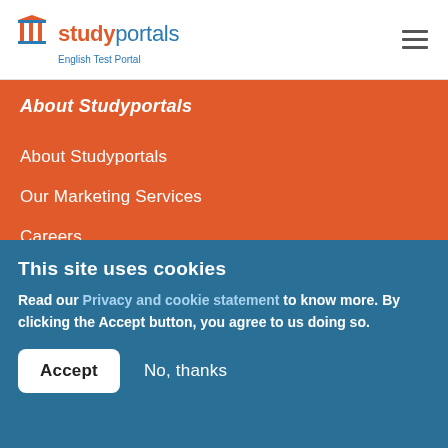studyportals English Test Portal
About Studyportals
About Studyportals
Our Marketing Services
Careers
Contact us
Our websites
This site uses cookies
Read our Privacy and cookie statement to know more. By clicking the Accept button, you agree to us doing so.
Accept | No, thanks